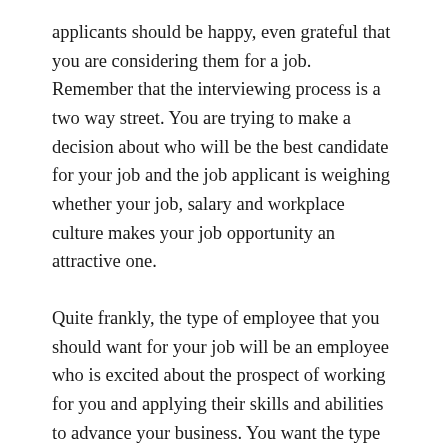applicants should be happy, even grateful that you are considering them for a job. Remember that the interviewing process is a two way street. You are trying to make a decision about who will be the best candidate for your job and the job applicant is weighing whether your job, salary and workplace culture makes your job opportunity an attractive one.
Quite frankly, the type of employee that you should want for your job will be an employee who is excited about the prospect of working for you and applying their skills and abilities to advance your business. You want the type of employee who will be assessing whether or not they will want to work with you regardless of whether they have a job, or have been unemployed for months. It often is a sign that the